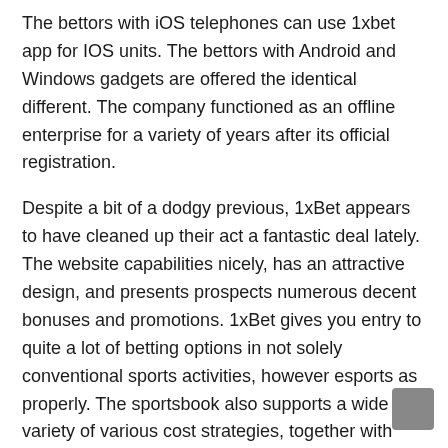The bettors with iOS telephones can use 1xbet app for IOS units. The bettors with Android and Windows gadgets are offered the identical different. The company functioned as an offline enterprise for a variety of years after its official registration.
Despite a bit of a dodgy previous, 1xBet appears to have cleaned up their act a fantastic deal lately. The website capabilities nicely, has an attractive design, and presents prospects numerous decent bonuses and promotions. 1xBet gives you entry to quite a lot of betting options in not solely conventional sports activities, however esports as properly. The sportsbook also supports a wide variety of various cost strategies, together with several cryptocurrencies, for example making payments to 1xBet utilizing bitcoin. The sportsbook welcome bonus isn't the most effective one round, but you'll have plenty of promotions to spice up your playing experience all through your keep at 1xBet. The online sportsbook that the 1xBet website has available is amongst the main attractions of